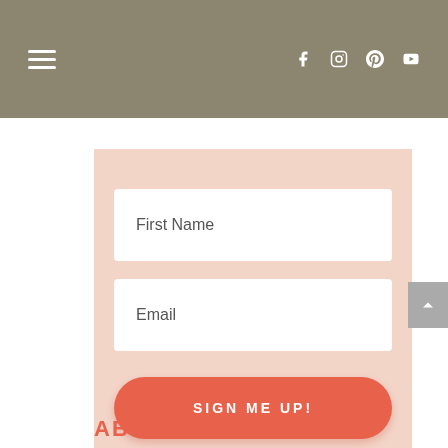Navigation bar with hamburger menu and social icons: f (Facebook), Instagram, Pinterest, YouTube
[Figure (screenshot): Email signup form with First Name field, Email field, and SIGN ME UP! button on a pink background]
ABOUT ME